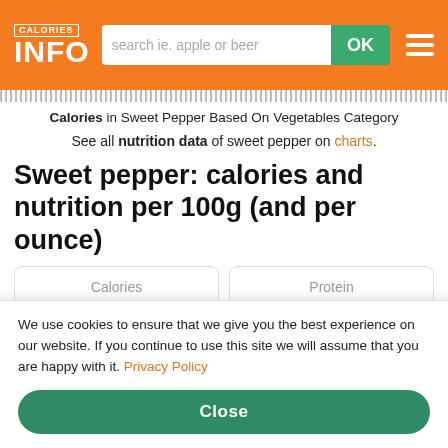CALORIES INFO
Calories in Sweet Pepper Based On Vegetables Category
See all nutrition data of sweet pepper on charts.
Sweet pepper: calories and nutrition per 100g (and per ounce)
| Calories | Protein |
| --- | --- |
| 31 kcal/100g | 1 g/100g |
We use cookies to ensure that we give you the best experience on our website. If you continue to use this site we will assume that you are happy with it. Privacy Policy
Close